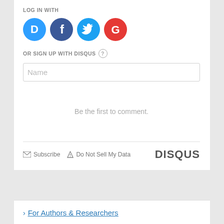LOG IN WITH
[Figure (illustration): Four social login icons: Disqus (blue circle with D), Facebook (dark blue circle with f), Twitter (light blue circle with bird), Google (red circle with G)]
OR SIGN UP WITH DISQUS ?
Name
Be the first to comment.
Subscribe  Do Not Sell My Data  DISQUS
› For Authors & Researchers